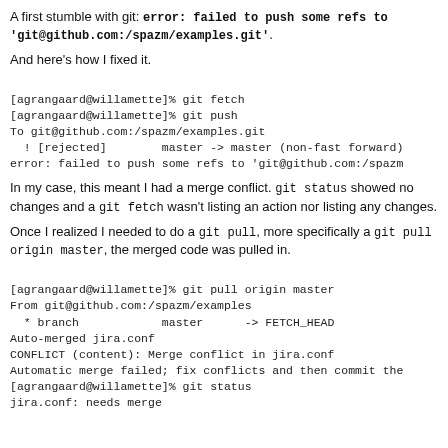A first stumble with git: error: failed to push some refs to 'git@github.com:/spazm/examples.git'.
And here's how I fixed it.
[agrangaard@willamette]% git fetch
[agrangaard@willamette]% git push
To git@github.com:/spazm/examples.git
  ! [rejected]        master -> master (non-fast forward)
error: failed to push some refs to 'git@github.com:/spazm
In my case, this meant I had a merge conflict. git status showed no changes and a git fetch wasn't listing an action nor listing any changes.
Once I realized I needed to do a git pull, more specifically a git pull origin master, the merged code was pulled in.
[agrangaard@willamette]% git pull origin master
From git@github.com:/spazm/examples
  * branch            master      -> FETCH_HEAD
Auto-merged jira.conf
CONFLICT (content): Merge conflict in jira.conf
Automatic merge failed; fix conflicts and then commit the
[agrangaard@willamette]% git status
jira.conf: needs merge